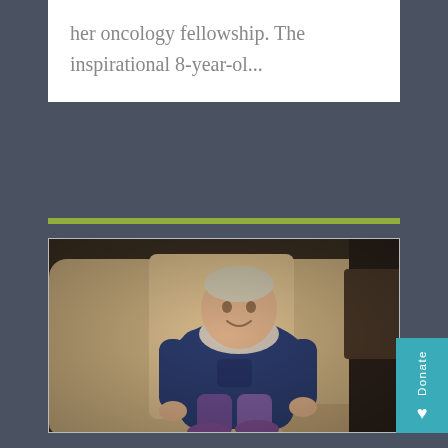her oncology fellowship. The inspirational 8-year-ol...
[Figure (photo): A young child with a shaved head, wearing a navy blue hoodie and colorful leggings with purple shoes, sitting in a large tan upholstered armchair, smiling slightly at the camera.]